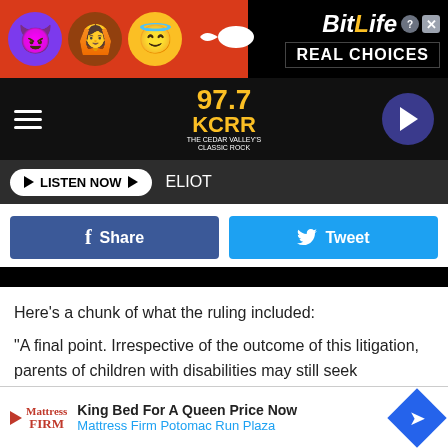[Figure (screenshot): BitLife advertisement banner with emoji characters and 'REAL CHOICES' text]
[Figure (logo): 97.7 KCRR The Cedar Valley's Classic Rock radio station logo with navigation bar]
LISTEN NOW ▶  ELIOT
[Figure (screenshot): Facebook Share and Twitter Tweet social sharing buttons]
Here's a chunk of what the ruling included:
"A final point. Irrespective of the outcome of this litigation, parents of children with disabilities may still seek accommodations to ensure their children may safely access their schools as the COVID-19 pandemic wears on. Section 280.31 provisi
[Figure (screenshot): Mattress Firm advertisement: King Bed For A Queen Price Now, Mattress Firm Potomac Run Plaza]